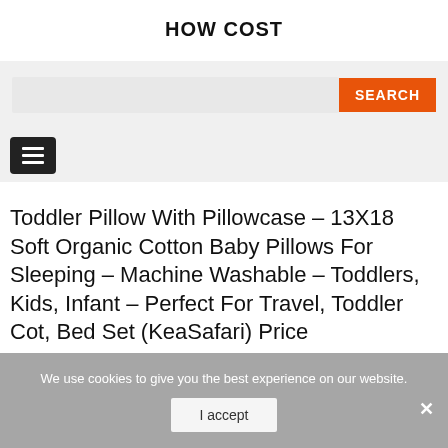HOW COST
[Figure (screenshot): Search bar with orange SEARCH button on grey background]
[Figure (screenshot): Hamburger menu button on grey navigation bar]
Toddler Pillow With Pillowcase – 13X18 Soft Organic Cotton Baby Pillows For Sleeping – Machine Washable – Toddlers, Kids, Infant – Perfect For Travel, Toddler Cot, Bed Set (KeaSafari) Price
We use cookies to give you the best experience on our website.
I accept